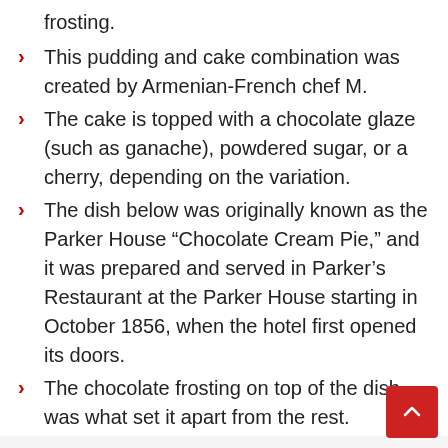frosting.
This pudding and cake combination was created by Armenian-French chef M.
The cake is topped with a chocolate glaze (such as ganache), powdered sugar, or a cherry, depending on the variation.
The dish below was originally known as the Parker House “Chocolate Cream Pie,” and it was prepared and served in Parker’s Restaurant at the Parker House starting in October 1856, when the hotel first opened its doors.
The chocolate frosting on top of the dish was what set it apart from the rest.